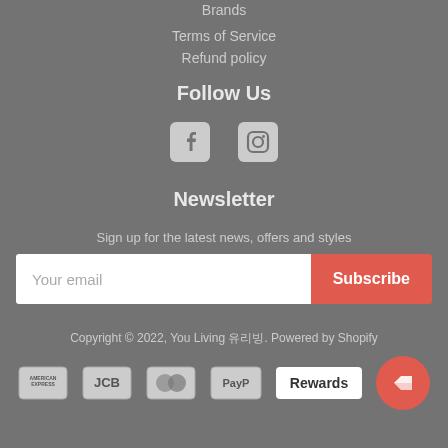Brands
Terms of Service
Refund policy
Follow Us
[Figure (illustration): Facebook and Instagram social media icons]
Newsletter
Sign up for the latest news, offers and styles
Your email / Subscribe button
Copyright © 2022, You Living 유리빙. Powered by Shopify
[Figure (logo): Payment icons: American Express, JCB, Mastercard, PayPal; Rewards button and rewards circle icon]